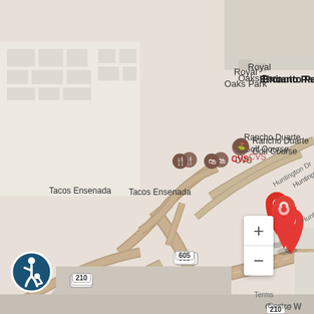[Figure (map): Google Maps screenshot showing the area around Huntington Dr in Duarte/Monrovia, CA. Visible landmarks include Royal Oaks Park, Encanto Park, Rancho Duarte Golf Course, Tacos Ensenada, CVS, Costco W, and Northr Sp. Highways 210 and 605 are visible intersecting. A red location pin is placed on Huntington Dr near the 210/605 interchange. An accessibility icon appears in the bottom-left. Zoom controls (+/-) appear in the bottom-right.]